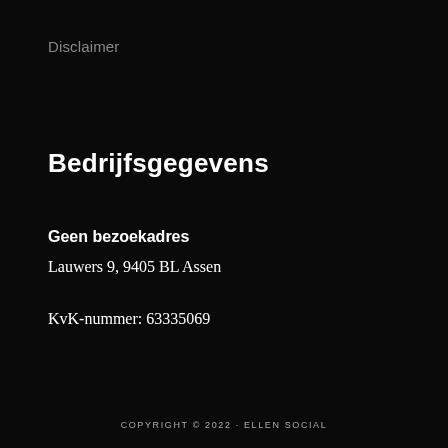Disclaimer
Bedrijfsgegevens
Geen bezoekadres
Lauwers 9, 9405 BL Assen
KvK-nummer: 63335069
COPYRIGHT © 2022 · ELLEN SOCIAL